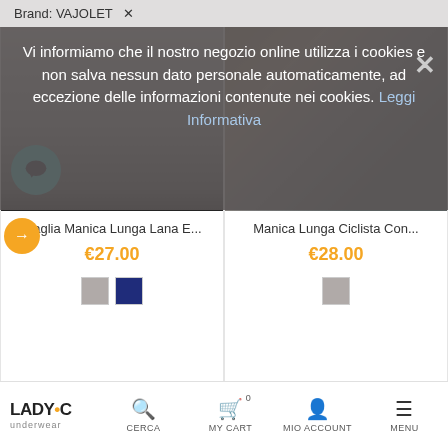[Figure (screenshot): Cookie consent overlay on an e-commerce website showing a brand filter bar reading 'Brand: VAJOLET ×', and a cookie notification message in Italian with a close button]
Vi informiamo che il nostro negozio online utilizza i cookies e non salva nessun dato personale automaticamente, ad eccezione delle informazioni contenute nei cookies. Leggi Informativa
[Figure (photo): Product photo of a woman wearing a grey long-sleeve wool shirt (Maglia Manica Lunga Lana E...)]
Maglia Manica Lunga Lana E...
€27.00
[Figure (photo): Product photo of a woman wearing a grey long-sleeve cycling top with lace detail (Manica Lunga Ciclista Con...)]
Manica Lunga Ciclista Con...
€28.00
LADY•C underwear  CERCA  MY CART 0  MIO ACCOUNT  MENU